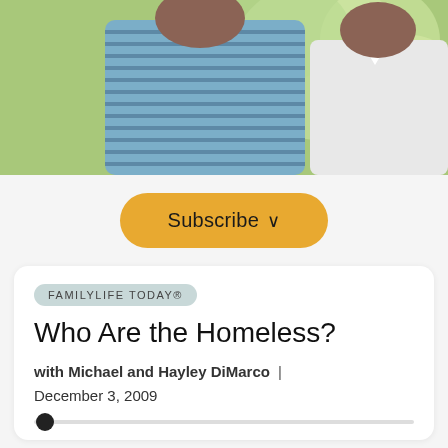[Figure (photo): Two people outdoors, one wearing a blue striped shirt, bokeh green background]
Subscribe ∨
FAMILYLIFE TODAY®
Who Are the Homeless?
with Michael and Hayley DiMarco  |  December 3, 2009